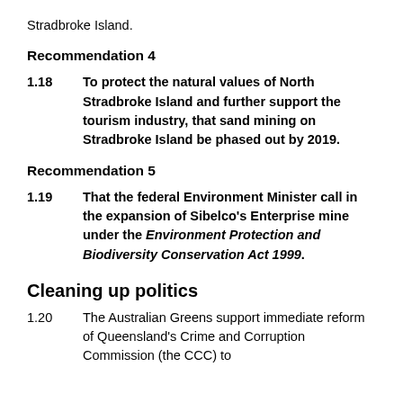Stradbroke Island.
Recommendation 4
1.18      To protect the natural values of North Stradbroke Island and further support the tourism industry, that sand mining on Stradbroke Island be phased out by 2019.
Recommendation 5
1.19      That the federal Environment Minister call in the expansion of Sibelco’s Enterprise mine under the Environment Protection and Biodiversity Conservation Act 1999.
Cleaning up politics
1.20      The Australian Greens support immediate reform of Queensland’s Crime and Corruption Commission (the CCC) to